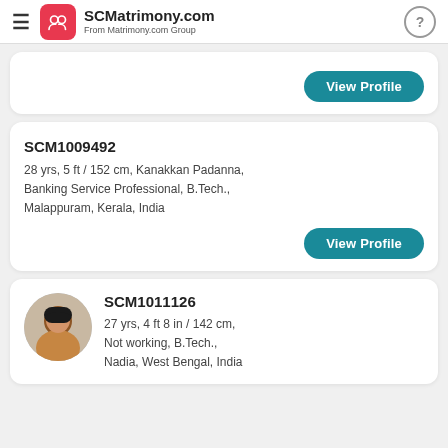SCMatrimony.com — From Matrimony.com Group
View Profile
SCM1009492
28 yrs, 5 ft / 152 cm, Kanakkan Padanna,
Banking Service Professional, B.Tech.,
Malappuram, Kerala, India
View Profile
[Figure (photo): Profile photo of a woman]
SCM1011126
27 yrs, 4 ft 8 in / 142 cm,
Not working, B.Tech.,
Nadia, West Bengal, India